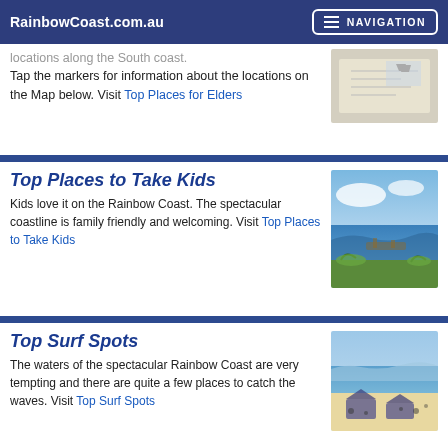RainbowCoast.com.au | NAVIGATION
locations along the South coast. Tap the markers for information about the locations on the Map below. Visit Top Places for Elders
[Figure (photo): Photo of a map or document on a table]
Top Places to Take Kids
Kids love it on the Rainbow Coast. The spectacular coastline is family friendly and welcoming. Visit Top Places to Take Kids
[Figure (photo): Coastal scene with rocks and blue water]
Top Surf Spots
The waters of the spectacular Rainbow Coast are very tempting and there are quite a few places to catch the waves. Visit Top Surf Spots
[Figure (photo): Beach scene with people and a marquee/tent]